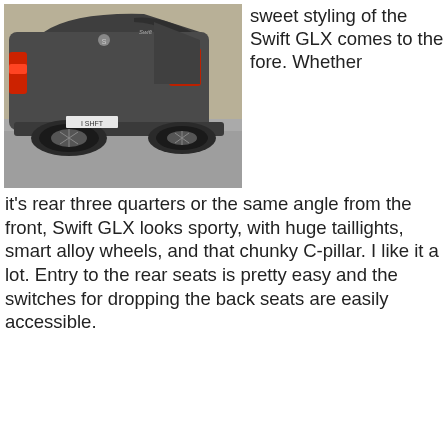[Figure (photo): Rear three-quarter view of a dark grey Suzuki Swift GLX hatchback parked on a grey surface. The car shows its chunky C-pillar, large red taillights, and alloy wheels. A licence plate reading 'I SHIFT' is visible.]
sweet styling of the Swift GLX comes to the fore. Whether it's rear three quarters or the same angle from the front, Swift GLX looks sporty, with huge taillights, smart alloy wheels, and that chunky C-pillar. I like it a lot. Entry to the rear seats is pretty easy and the switches for dropping the back seats are easily accessible.